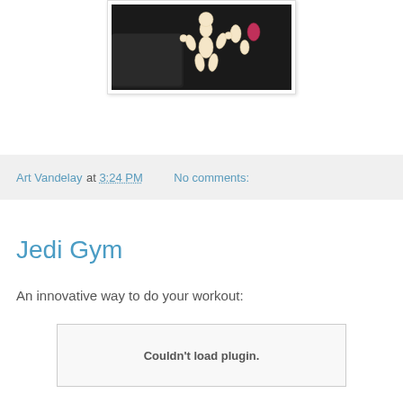[Figure (photo): Photo of person holding balloon art shaped like a figure, against a black leather seat background. Photo is in a white polaroid-style frame with border.]
Art Vandelay at 3:24 PM   No comments:
Jedi Gym
An innovative way to do your workout:
[Figure (other): Couldn't load plugin.]